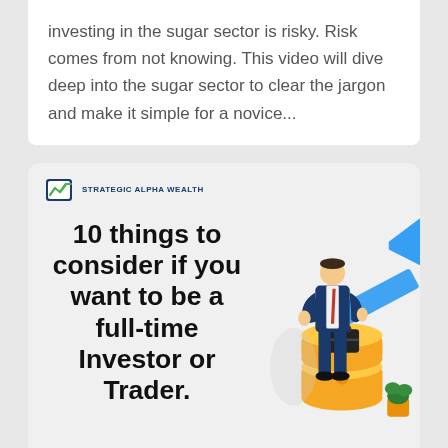investing in the sugar sector is risky. Risk comes from not knowing. This video will dive deep into the sugar sector to clear the jargon and make it simple for a novice...
[Figure (infographic): Strategic Alpha Wealth branded card with bold title '10 things to consider if you want to be a full-time Investor or Trader.' with an illustration of a businessman standing next to large gold coins and an upward trending blue arrow chart, with a green plant in the background.]